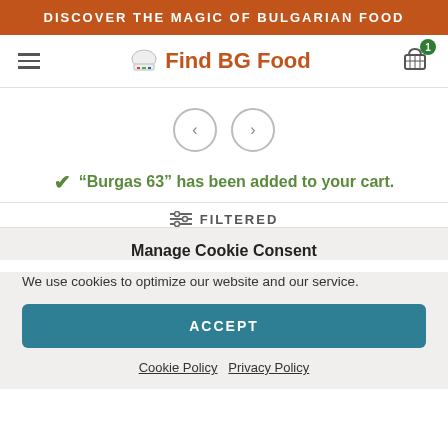DISCOVER THE MAGIC OF BULGARIAN FOOD
Find BG Food
[Figure (other): Navigation arrow buttons: left and right circle arrows for carousel navigation]
"Burgas 63" has been added to your cart.
FILTERED
Manage Cookie Consent
We use cookies to optimize our website and our service.
ACCEPT
Cookie Policy   Privacy Policy